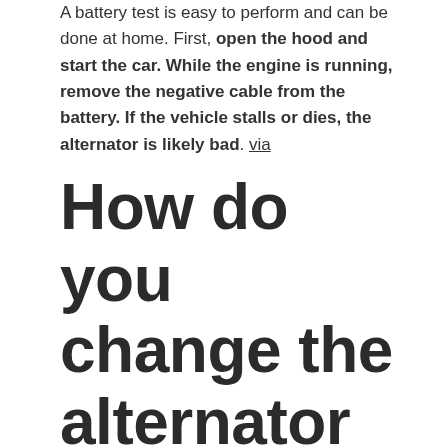A battery test is easy to perform and can be done at home. First, open the hood and start the car. While the engine is running, remove the negative cable from the battery. If the vehicle stalls or dies, the alternator is likely bad. via
How do you change the alternator on a 2000 Toyota 4runner?